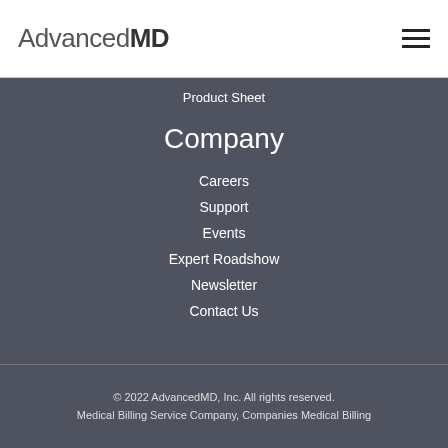AdvancedMD
Product Sheet
Company
Careers
Support
Events
Expert Roadshow
Newsletter
Contact Us
© 2022 AdvancedMD, Inc. All rights reserved. Medical Billing Service Company, Companies Medical Billing